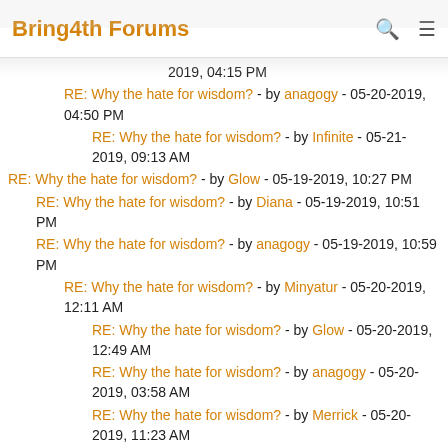Bring4th Forums
RE: Why the hate for wisdom? - by anagogy - 05-20-2019, 04:50 PM
RE: Why the hate for wisdom? - by Infinite - 05-21-2019, 09:13 AM
RE: Why the hate for wisdom? - by Glow - 05-19-2019, 10:27 PM
RE: Why the hate for wisdom? - by Diana - 05-19-2019, 10:51 PM
RE: Why the hate for wisdom? - by anagogy - 05-19-2019, 10:59 PM
RE: Why the hate for wisdom? - by Minyatur - 05-20-2019, 12:11 AM
RE: Why the hate for wisdom? - by Glow - 05-20-2019, 12:49 AM
RE: Why the hate for wisdom? - by anagogy - 05-20-2019, 03:58 AM
RE: Why the hate for wisdom? - by Merrick - 05-20-2019, 11:23 AM